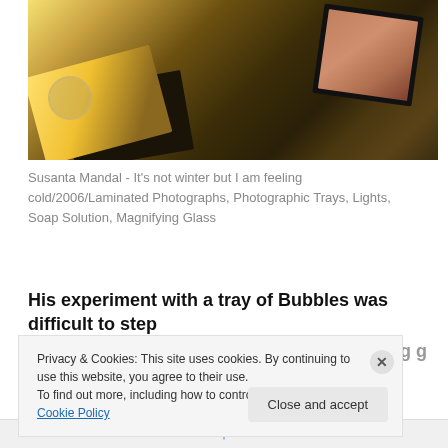[Figure (photo): Overhead view of laminated photographs, photographic trays with soap solution, a magnifying glass, and lights on a tiled floor, with warm yellow-green lighting.]
Susanta Mandal - It's not winter but I am feeling cold/2006/Laminated Photographs, Photographic Trays, Lights, Soap Solution, Magnifying Glass
His experiment with a tray of Bubbles was difficult to step away from. When seen through a magnifying glass, the
Privacy & Cookies: This site uses cookies. By continuing to use this website, you agree to their use.
To find out more, including how to control cookies, see here: Cookie Policy
Close and accept